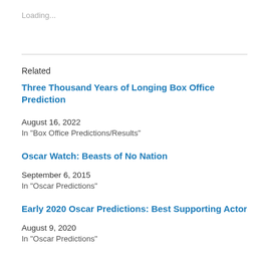Loading...
Related
Three Thousand Years of Longing Box Office Prediction
August 16, 2022
In "Box Office Predictions/Results"
Oscar Watch: Beasts of No Nation
September 6, 2015
In "Oscar Predictions"
Early 2020 Oscar Predictions: Best Supporting Actor
August 9, 2020
In "Oscar Predictions"